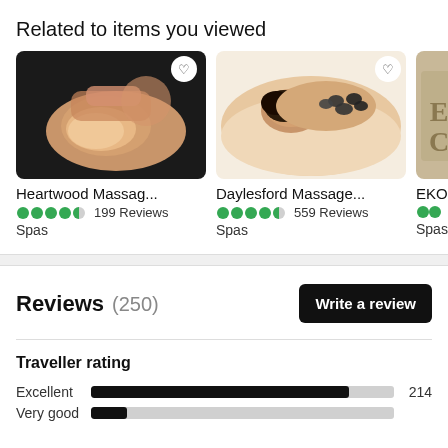Related to items you viewed
[Figure (photo): Heartwood Massage photo showing hands performing facial massage on a woman lying down with dark background]
Heartwood Massag...
●●●●● 199 Reviews
Spas
[Figure (photo): Daylesford Massage photo showing a woman receiving hot stone massage on her back, lying face down]
Daylesford Massage...
●●●●● 559 Reviews
Spas
[Figure (photo): EKO partial card image partially visible showing what appears to be a wooden or stone sign]
EKO
Spas
Reviews (250)
Write a review
Traveller rating
Excellent 214